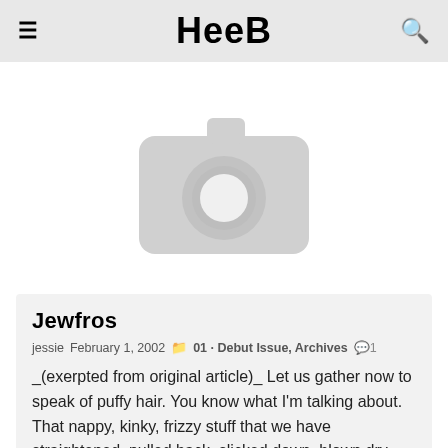HeeB
[Figure (photo): Placeholder image with camera icon on light grey background]
Jewfros
jessie  February 1, 2002  01 · Debut Issue, Archives  1
_(exerpted from original article)_ Let us gather now to speak of puffy hair. You know what I'm talking about. That nappy, kinky, frizzy stuff that we have straightened, pulled back, slicked down, blown dry, ...